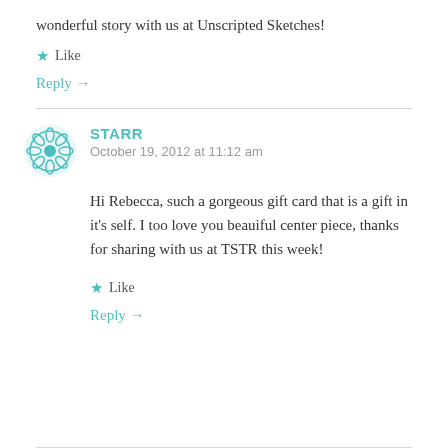wonderful story with us at Unscripted Sketches!
Like
Reply →
STARR
October 19, 2012 at 11:12 am
Hi Rebecca, such a gorgeous gift card that is a gift in it's self. I too love you beauiful center piece, thanks for sharing with us at TSTR this week!
Like
Reply →